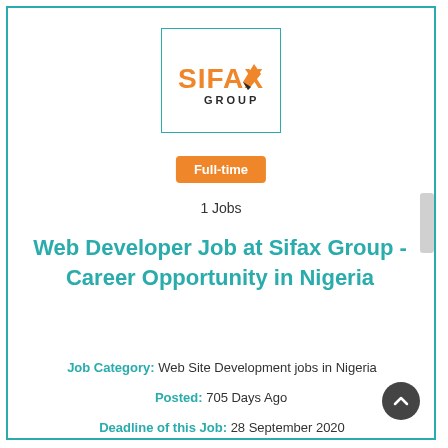[Figure (logo): Sifax Group logo — orange 'SIFAX' text with a checkmark-style graphic, and 'GROUP' in dark gray below]
Full-time
1 Jobs
Web Developer Job at Sifax Group - Career Opportunity in Nigeria
Job Category: Web Site Development jobs in Nigeria
Posted: 705 Days Ago
Deadline of this Job: 28 September 2020